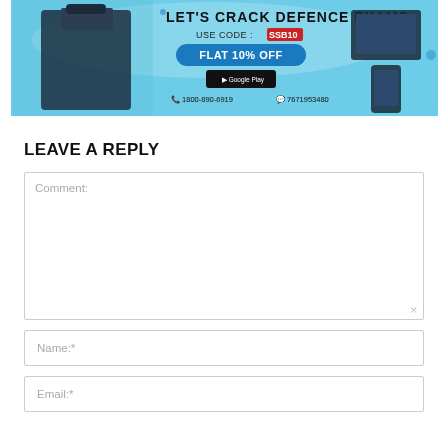[Figure (illustration): Promotional banner for defence exam preparation app. Shows a military officer illustration on the left with text 'LET'S CRACK DEFENCE EXAMS', 'USE CODE: SSB10', 'FLAT 10% OFF', Google Play button, phone numbers 1800-890-6919 and 7671953480. Blue and white color scheme with device mockups on the right.]
LEAVE A REPLY
Comment:
Name:*
Email:*